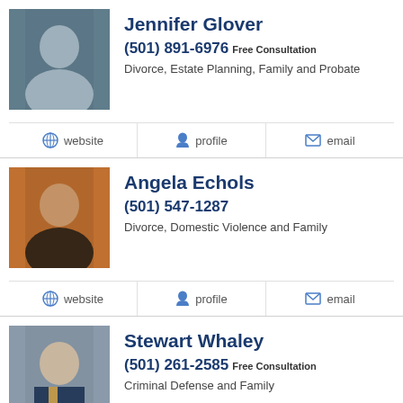Jennifer Glover
(501) 891-6976 Free Consultation
Divorce, Estate Planning, Family and Probate
website | profile | email
Angela Echols
(501) 547-1287
Divorce, Domestic Violence and Family
website | profile | email
Stewart Whaley
(501) 261-2585 Free Consultation
Criminal Defense and Family
website | profile | email